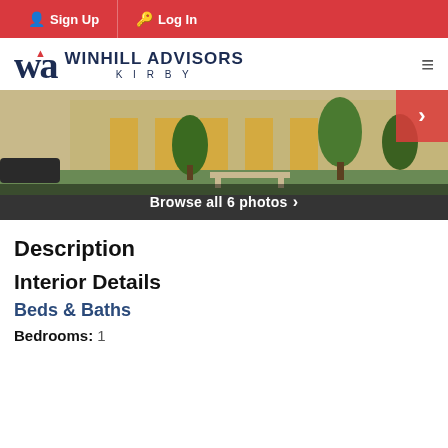Sign Up  Log In
[Figure (logo): Winhill Advisors Kirby logo with WA monogram in navy and red]
[Figure (photo): Exterior photo of a property with trees and landscaping, showing a Browse all 6 photos button overlay]
Description
Interior Details
Beds & Baths
Bedrooms:  1